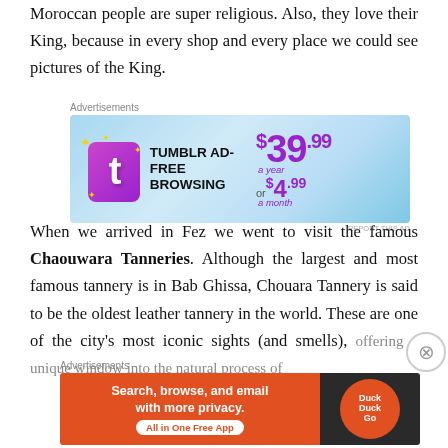Moroccan people are super religious. Also, they love their King, because in every shop and every place we could see pictures of the King.
[Figure (screenshot): Tumblr Ad-Free Browsing advertisement banner: $39.99 a year or $4.99 a month]
When we arrived in Fez we went to visit the famous Chaouwara Tanneries. Although the largest and most famous tannery is in Bab Ghissa, Chouara Tannery is said to be the oldest leather tannery in the world. These are one of the city's most iconic sights (and smells), offering a unique window into the natural process of
[Figure (screenshot): DuckDuckGo advertisement: Search, browse, and email with more privacy. All in One Free App.]